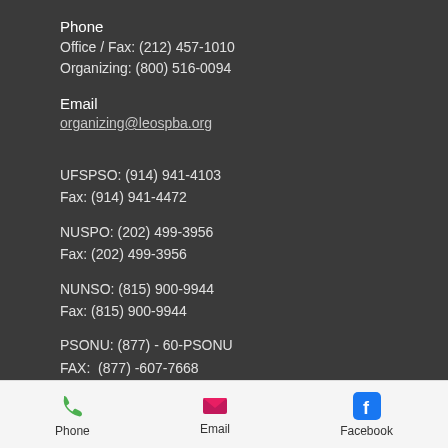Phone
Office / Fax: (212) 457-1010
Organizing: (800) 516-0094
Email
organizing@leospba.org
UFSPSO: (914) 941-4103
Fax: (914) 941-4472
NUSPO: (202) 499-3956
Fax: (202) 499-3956
NUNSO: (815) 900-9944
Fax: (815) 900-9944
PSONU: (877) - 60-PSONU
FAX:  (877) -607-7668
[Figure (infographic): Mobile app bottom navigation bar with three icons: Phone (green phone handset icon), Email (pink/red envelope icon), Facebook (blue Facebook 'f' icon), each with a text label below]